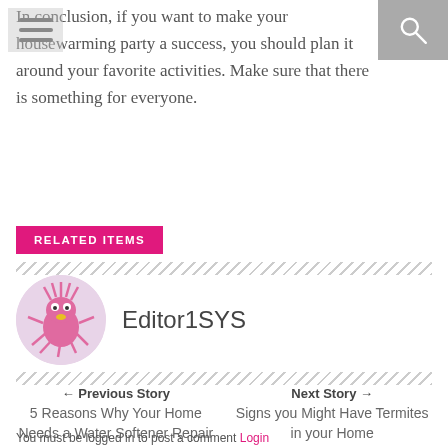In conclusion, if you want to make your housewarming party a success, you should plan it around your favorite activities. Make sure that there is something for everyone.
RELATED ITEMS
[Figure (illustration): Circular avatar of Editor1SYS showing a cartoon pink creature with multiple legs and yellow mouth]
Editor1SYS
← Previous Story
5 Reasons Why Your Home Needs a Water Softener Repair
Next Story →
Signs you Might Have Termites in your Home
You must be logged in to post a comment Login